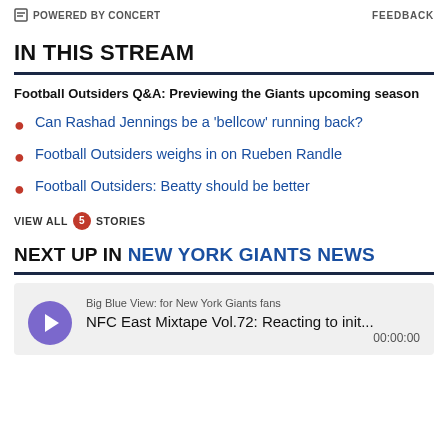POWERED BY CONCERT   FEEDBACK
IN THIS STREAM
Football Outsiders Q&A: Previewing the Giants upcoming season
Can Rashad Jennings be a 'bellcow' running back?
Football Outsiders weighs in on Rueben Randle
Football Outsiders: Beatty should be better
VIEW ALL 5 STORIES
NEXT UP IN NEW YORK GIANTS NEWS
Big Blue View: for New York Giants fans
NFC East Mixtape Vol.72: Reacting to init...
00:00:00